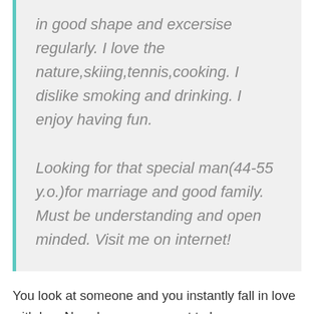in good shape and excersise regularly. I love the nature,skiing,tennis,cooking. I dislike smoking and drinking. I enjoy having fun.

Looking for that special man(44-55 y.o.)for marriage and good family. Must be understanding and open minded. Visit me on internet!
You look at someone and you instantly fall in love with her. Now, how can you get to know someone like this? The answer is simple – the answer is a dating app.